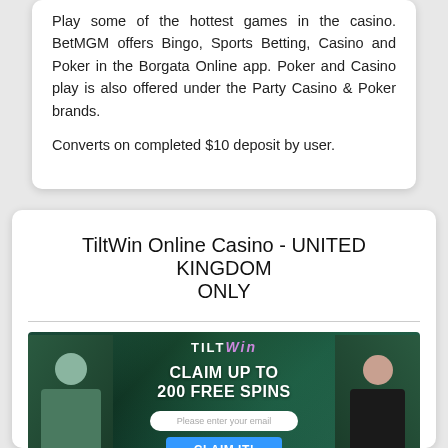Play some of the hottest games in the casino. BetMGM offers Bingo, Sports Betting, Casino and Poker in the Borgata Online app. Poker and Casino play is also offered under the Party Casino & Poker brands.

Converts on completed $10 deposit by user.
TiltWin Online Casino - UNITED KINGDOM ONLY
[Figure (screenshot): TiltWin Online Casino promotional banner showing a man and woman flanking a central offer: 'CLAIM UP TO 200 FREE SPINS' with an email input field and 'CLAIM IT!' button, on a dark green casino-themed background.]